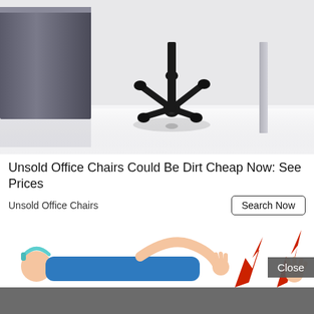[Figure (photo): Office chair base with casters and a wooden desk/cabinet visible, on a reflective white floor background]
Unsold Office Chairs Could Be Dirt Cheap Now: See Prices
Unsold Office Chairs
Search Now
[Figure (illustration): Cartoon illustration of a person lying down in pain with red lightning bolt symbols indicating pain/electricity, hand raised, wearing blue clothing, with a headset]
Close